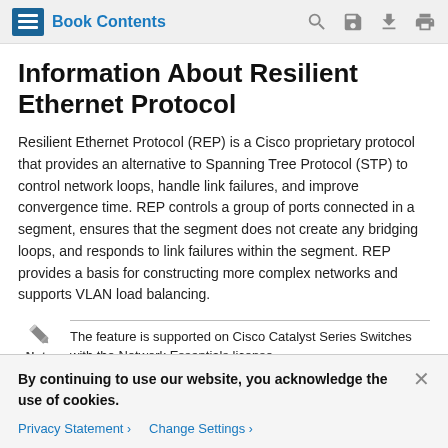Book Contents
Information About Resilient Ethernet Protocol
Resilient Ethernet Protocol (REP) is a Cisco proprietary protocol that provides an alternative to Spanning Tree Protocol (STP) to control network loops, handle link failures, and improve convergence time. REP controls a group of ports connected in a segment, ensures that the segment does not create any bridging loops, and responds to link failures within the segment. REP provides a basis for constructing more complex networks and supports VLAN load balancing.
Note: The feature is supported on Cisco Catalyst Series Switches with the Network Essentials license.
By continuing to use our website, you acknowledge the use of cookies.
Privacy Statement >  Change Settings >